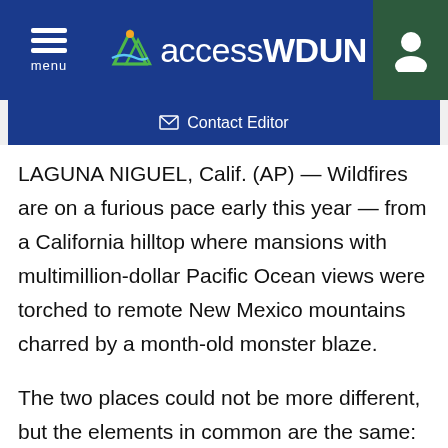accessWDUN — menu — Contact Editor
LAGUNA NIGUEL, Calif. (AP) — Wildfires are on a furious pace early this year — from a California hilltop where mansions with multimillion-dollar Pacific Ocean views were torched to remote New Mexico mountains charred by a month-old monster blaze.
The two places could not be more different, but the elements in common are the same: wind-driven flames have torn through vegetation that is extraordinarily dry from years-long drought.